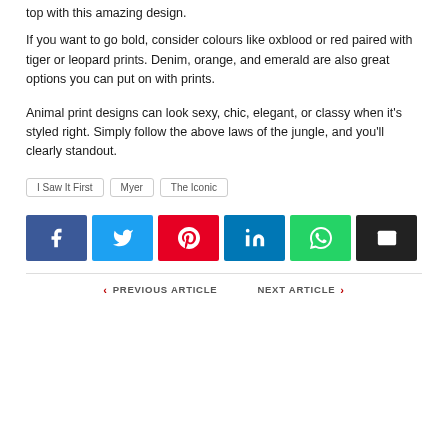top with this amazing design.
If you want to go bold, consider colours like oxblood or red paired with tiger or leopard prints. Denim, orange, and emerald are also great options you can put on with prints.
Animal print designs can look sexy, chic, elegant, or classy when it's styled right. Simply follow the above laws of the jungle, and you'll clearly standout.
I Saw It First
Myer
The Iconic
[Figure (infographic): Social sharing buttons: Facebook, Twitter, Pinterest, LinkedIn, WhatsApp, Email]
PREVIOUS ARTICLE   NEXT ARTICLE